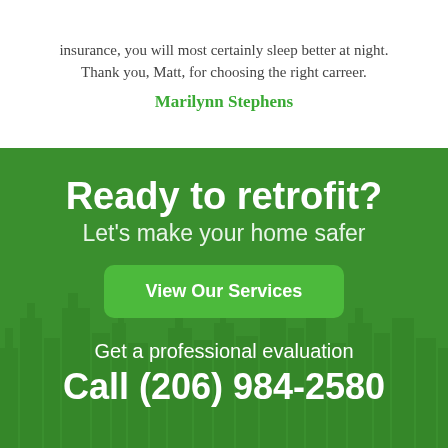insurance, you will most certainly sleep better at night. Thank you, Matt, for choosing the right carreer.
Marilynn Stephens
Ready to retrofit?
Let's make your home safer
View Our Services
Get a professional evaluation
Call (206) 984-2580